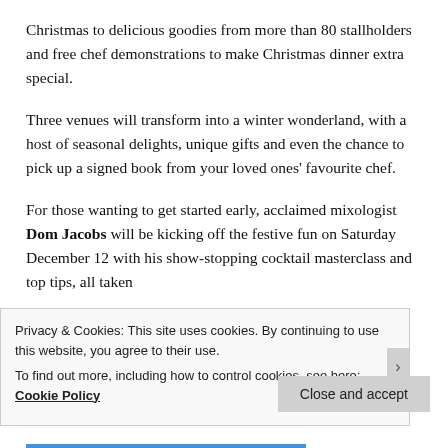Christmas to delicious goodies from more than 80 stallholders and free chef demonstrations to make Christmas dinner extra special.
Three venues will transform into a winter wonderland, with a host of seasonal delights, unique gifts and even the chance to pick up a signed book from your loved ones' favourite chef.
For those wanting to get started early, acclaimed mixologist Dom Jacobs will be kicking off the festive fun on Saturday December 12 with his show-stopping cocktail masterclass and top tips, all taken
Privacy & Cookies: This site uses cookies. By continuing to use this website, you agree to their use.
To find out more, including how to control cookies, see here: Cookie Policy
Close and accept